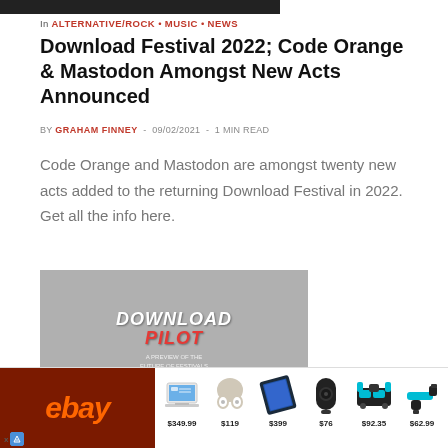In ALTERNATIVE/ROCK · MUSIC · NEWS
Download Festival 2022; Code Orange & Mastodon Amongst New Acts Announced
BY GRAHAM FINNEY - 09/02/2021 - 1 MIN READ
Code Orange and Mastodon are amongst twenty new acts added to the returning Download Festival in 2022. Get all the info here.
[Figure (photo): Download Festival pilot event logo on grey background]
[Figure (infographic): eBay advertisement banner showing products: laptop $349.99, earbuds $119, tablet $399, speaker $76, tool kit $92.35, power tool $62.99]